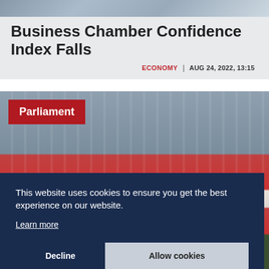[Figure (photo): Top banner decorative image with building/architectural texture in grey-blue tones]
Business Chamber Confidence Index Falls
ECONOMY | AUG 24, 2022, 13:15
[Figure (photo): Photo of Hungarian Parliament building with the Hungarian flag (red, white, green) draped in the foreground. A red label box reads 'Parliament'. A dark blue cookie consent overlay covers the lower portion with text: 'This website uses cookies to ensure you get the best experience on our website. Learn more' and two buttons: 'Decline' and 'Allow cookies'.]